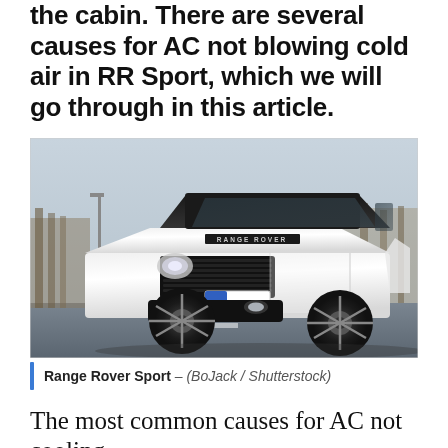the cabin. There are several causes for AC not blowing cold air in RR Sport, which we will go through in this article.
[Figure (photo): White Range Rover Sport SUV with black wheels and license plate L 8455, photographed from the front-left angle on a road with bare trees and grey sky in the background.]
Range Rover Sport – (BoJack / Shutterstock)
The most common causes for AC not cooling